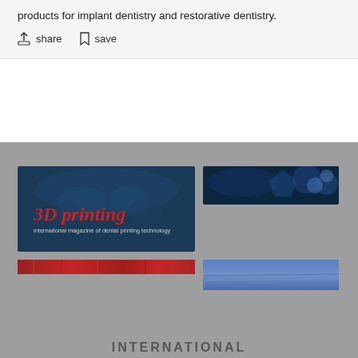products for implant dentistry and restorative dentistry.
share   save
[Figure (screenshot): 3D printing international magazine of dental printing technology - dark blue card with dental mold background]
[Figure (photo): Top right blue card with abstract dental/science image]
[Figure (photo): Red textured strip banner]
[Figure (photo): Blue gradient strip banner]
INTERNATIONAL